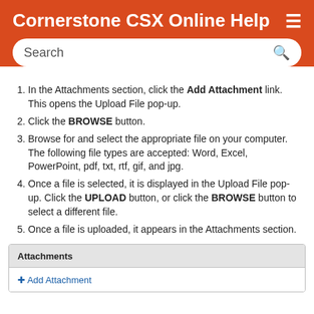Cornerstone CSX Online Help
In the Attachments section, click the Add Attachment link. This opens the Upload File pop-up.
Click the BROWSE button.
Browse for and select the appropriate file on your computer. The following file types are accepted: Word, Excel, PowerPoint, pdf, txt, rtf, gif, and jpg.
Once a file is selected, it is displayed in the Upload File pop-up. Click the UPLOAD button, or click the BROWSE button to select a different file.
Once a file is uploaded, it appears in the Attachments section.
[Figure (screenshot): Attachments panel with header 'Attachments' and an 'Add Attachment' link below it]